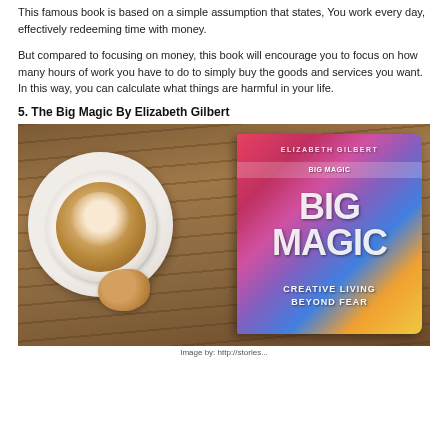This famous book is based on a simple assumption that states, You work every day, effectively redeeming time with money.
But compared to focusing on money, this book will encourage you to focus on how many hours of work you have to do to simply buy the goods and services you want. In this way, you can calculate what things are harmful in your life.
5. The Big Magic By Elizabeth Gilbert
[Figure (photo): Photo of a coffee cup on a saucer with a cookie beside it on a wooden table, next to the book 'Big Magic: Creative Living Beyond Fear' by Elizabeth Gilbert]
Image by: http://stories...